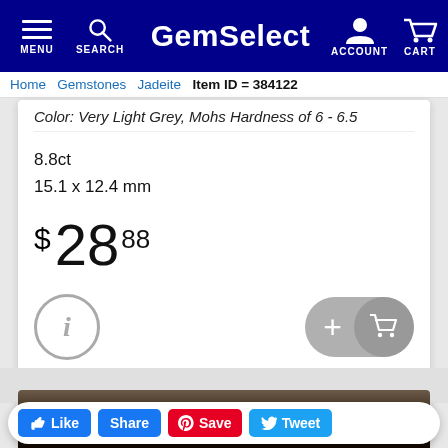GemSelect — MENU, SEARCH, ACCOUNT, CART
Home  Gemstones  Jadeite  Item ID = 384122
Color: Very Light Grey, Mohs Hardness of 6 - 6.5
8.8ct
15.1 x 12.4 mm
$ 28 88
[Figure (other): Info (i) circle button and Add to Cart button with plus and cart icon]
[Figure (other): Buy Now button with play arrow icon]
[Figure (photo): Bottom partial image of dark gem/stone background]
Like  Share  Save  Tweet